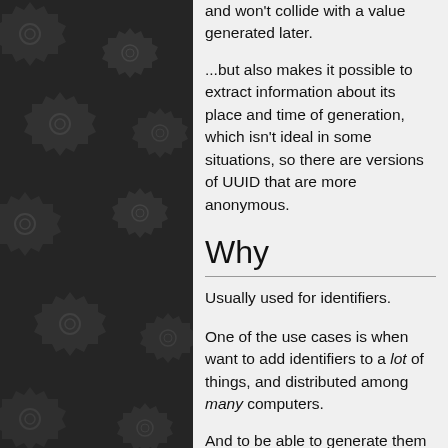[Figure (illustration): Dark background with repeating gear/cog pattern in dark grey tones, arranged in a grid across the left panel of the page]
and won't collide with a value generated later.
...but also makes it possible to extract information about its place and time of generation, which isn't ideal in some situations, so there are versions of UUID that are more anonymous.
Why
Usually used for identifiers.
One of the use cases is when want to add identifiers to a lot of things, and distributed among many computers.
And to be able to generate them without checking with a central